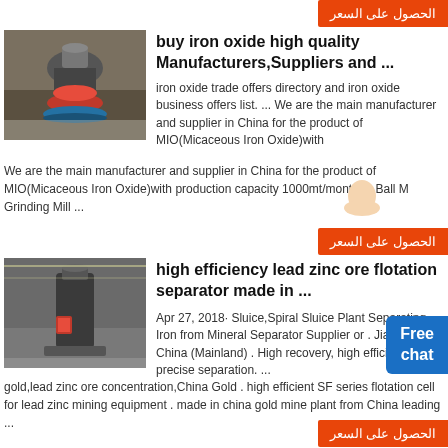[Figure (other): Orange Arabic button top right: الحصول على السعر]
[Figure (photo): Industrial mining machine (cone crusher) in a factory setting]
buy iron oxide high quality Manufacturers,Suppliers and ...
iron oxide trade offers directory and iron oxide business offers list. ... We are the main manufacturer and supplier in China for the product of MIO(Micaceous Iron Oxide)with
We are the main manufacturer and supplier in China for the product of MIO(Micaceous Iron Oxide)with production capacity 1000mt/month ...,Ball Mill Grinding Mill ...
[Figure (other): Blue Free chat button on right side]
[Figure (other): Orange Arabic button: الحصول على السعر]
[Figure (photo): Industrial grinding/flotation machine in factory]
high efficiency lead zinc ore flotation separator made in ...
Apr 27, 2018· Sluice,Spiral Sluice Plant Separating Iron from Mineral Separator Supplier or . Jiangxi, China (Mainland) . High recovery, high efficiency, and precise separation. ... gold,lead zinc ore concentration,China Gold . high efficient SF series flotation cell for lead zinc mining equipment . made in china gold mine plant from China leading ...
[Figure (other): Orange Arabic button at bottom: الحصول على السعر]